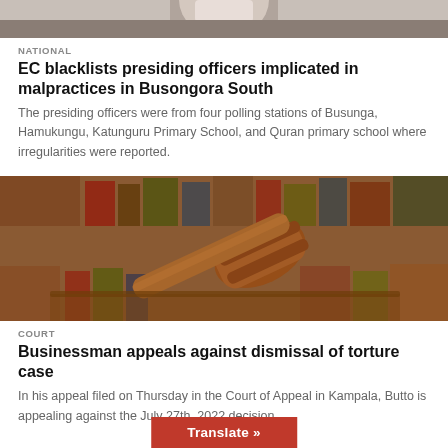[Figure (photo): Top cropped photo of a person (partial head/shoulders visible)]
NATIONAL
EC blacklists presiding officers implicated in malpractices in Busongora South
The presiding officers were from four polling stations of Busunga, Hamukungu, Katunguru Primary School, and Quran primary school where irregularities were reported.
[Figure (photo): Photo of a wooden gavel on a desk with law books in the background]
COURT
Businessman appeals against dismissal of torture case
In his appeal filed on Thursday in the Court of Appeal in Kampala, Butto is appealing against the July 27th, 2022 decision...